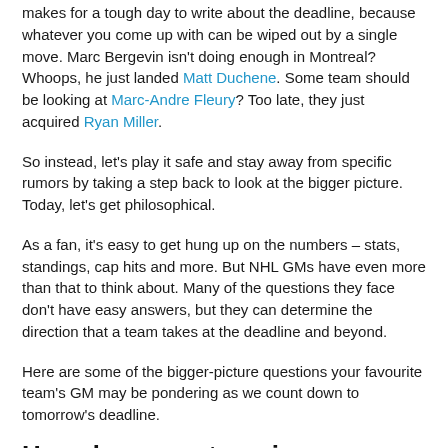makes for a tough day to write about the deadline, because whatever you come up with can be wiped out by a single move. Marc Bergevin isn't doing enough in Montreal? Whoops, he just landed Matt Duchene. Some team should be looking at Marc-Andre Fleury? Too late, they just acquired Ryan Miller.
So instead, let's play it safe and stay away from specific rumors by taking a step back to look at the bigger picture. Today, let's get philosophical.
As a fan, it's easy to get hung up on the numbers – stats, standings, cap hits and more. But NHL GMs have even more than that to think about. Many of the questions they face don't have easy answers, but they can determine the direction that a team takes at the deadline and beyond.
Here are some of the bigger-picture questions your favourite team's GM may be pondering as we count down to tomorrow's deadline.
How do you put a price on loyalty?